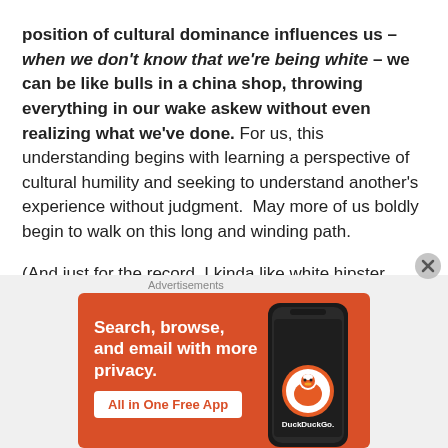position of cultural dominance influences us – when we don't know that we're being white – we can be like bulls in a china shop, throwing everything in our wake askew without even realizing what we've done. For us, this understanding begins with learning a perspective of cultural humility and seeking to understand another's experience without judgment.  May more of us boldly begin to walk on this long and winding path.

(And just for the record, I kinda like white hipster music.)
[Figure (other): DuckDuckGo advertisement banner with orange background showing 'Search, browse, and email with more privacy. All in One Free App' text alongside a smartphone image and DuckDuckGo logo/wordmark]